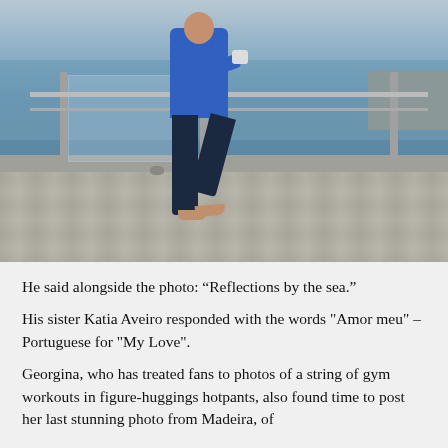[Figure (photo): A person in a blue long-sleeve top and dark navy trousers, barefoot, leaning against a metal and glass railing overlooking the sea. The setting appears to be a seaside promenade with a paved cobblestone area. The background shows blue water and a cloudy sky.]
He said alongside the photo: “Reflections by the sea.”
His sister Katia Aveiro responded with the words "Amor meu" – Portuguese for "My Love".
Georgina, who has treated fans to photos of a string of gym workouts in figure-huggings hotpants, also found time to post her last stunning photo from Madeira, of